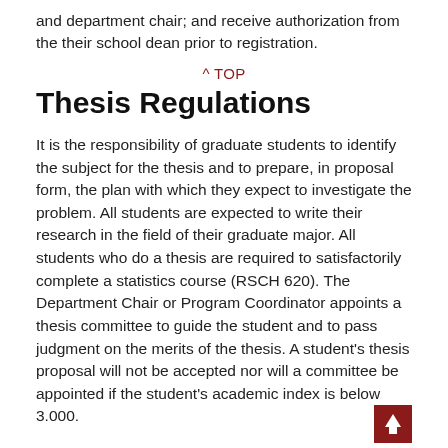and department chair; and receive authorization from the their school dean prior to registration.
^ TOP
Thesis Regulations
It is the responsibility of graduate students to identify the subject for the thesis and to prepare, in proposal form, the plan with which they expect to investigate the problem. All students are expected to write their research in the field of their graduate major. All students who do a thesis are required to satisfactorily complete a statistics course (RSCH 620). The Department Chair or Program Coordinator appoints a thesis committee to guide the student and to pass judgment on the merits of the thesis. A student's thesis proposal will not be accepted nor will a committee be appointed if the student's academic index is below 3.000.